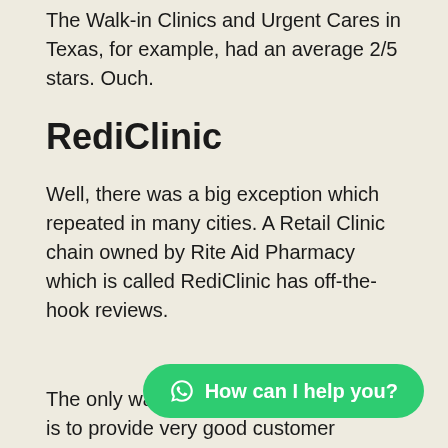The Walk-in Clinics and Urgent Cares in Texas, for example, had an average 2/5 stars. Ouch.
RediClinic
Well, there was a big exception which repeated in many cities. A Retail Clinic chain owned by Rite Aid Pharmacy which is called RediClinic has off-the-hook reviews.
The only way you can get such reviews is to provide very good customer service and proactively chase down each review. It’s time consuming and expensive but it definitely has a high return on investment.
Because they only treat a handful of issues, it’s easier to